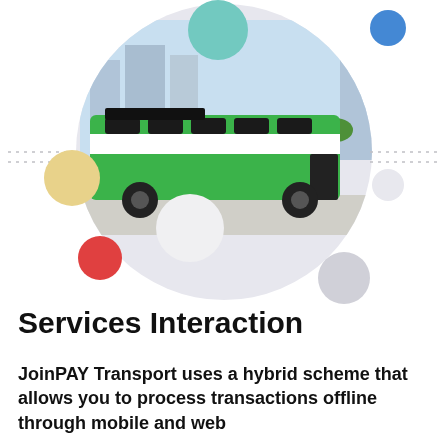[Figure (illustration): A green and white city bus illustrated inside a large light gray circle, with decorative colored spheres (teal, blue, beige/gold, white, red, light gray) floating around it, against a white background with dotted horizontal lines on either side.]
Services Interaction
JoinPAY Transport uses a hybrid scheme that allows you to process transactions offline through mobile and web...